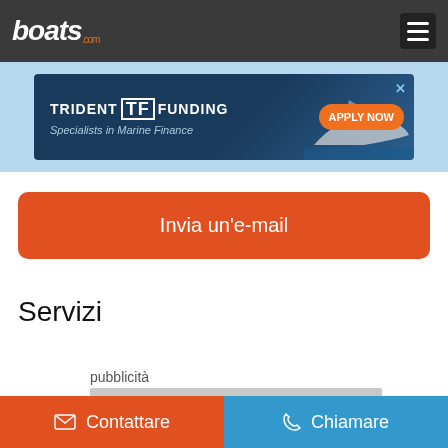boats.com
[Figure (screenshot): Trident Funding advertisement banner — 'TRIDENT F FUNDING / Specialists in Marine Finance / APPLY NOW' with boat image]
Invia un'e-mail
Servizi
pubblicità
[Figure (other): Gray advertisement placeholder box]
Contattare
Chiamare